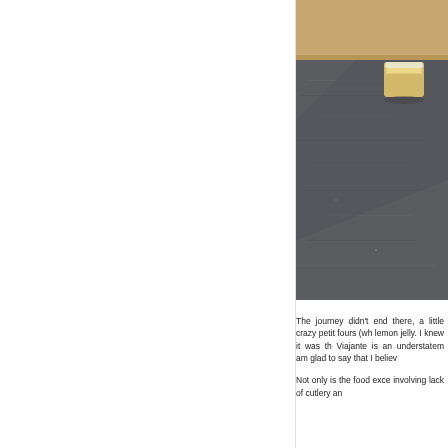[Figure (photo): Close-up photo of a small petit four or confection on a dark slate surface, with a wooden table visible in the background. The food item appears to have a crystallized or sugar-coated exterior.]
The journey didn't end there, a little crazy petit fours (wh lemon jelly. I knew it was th Viajante is an understatem am glad to say that I believ
Not only is the food exce involving lack of cutlery an